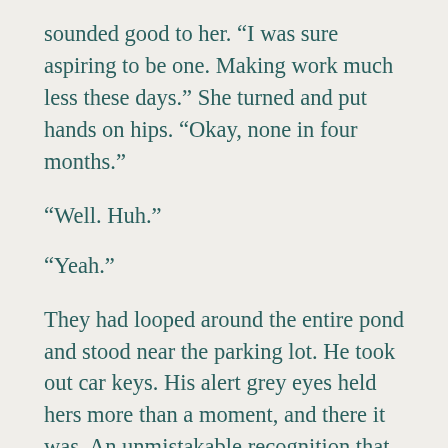sounded good to her. “I was sure aspiring to be one. Making work much less these days.” She turned and put hands on hips. “Okay, none in four months.”
“Well. Huh.”
“Yeah.”
They had looped around the entire pond and stood near the parking lot. He took out car keys. His alert grey eyes held hers more than a moment, and there it was. An unmistakable recognition that went a little deeper, barely. A tentative, unexpected connection. o, she was imagining it, wasn’t she?
“I have to get going, but she not join me for